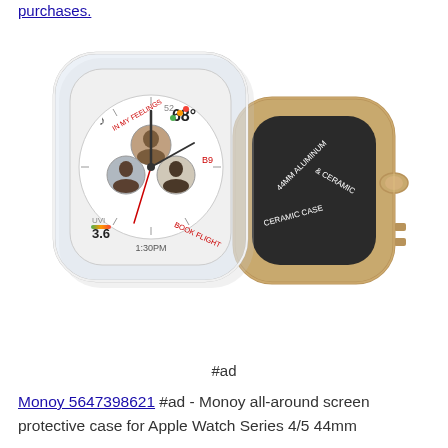purchases.
[Figure (photo): Two Apple Watch Series 4/5 44mm protective cases — one clear transparent showing the watch face with custom watch face (showing IN MY FEELINGS, 68°, 52, B9, 3.6, BOOK FLIGHT, 1:30PM, three contact photos), and one gold/champagne colored case showing the back of the watch with text 44MM ALUMINUM & CERAMIC CERAMIC CASE]
#ad
Monoy 5647398621 #ad - Monoy all-around screen protective case for Apple Watch Series 4/5 44mm